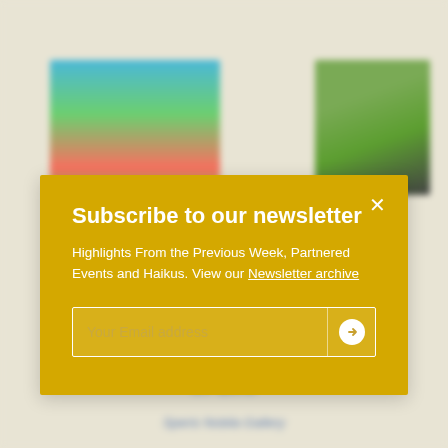[Figure (screenshot): Blurred website background showing two artwork thumbnails (left: landscape painting with blue/green/red; right: green painting with dark figure) and blurred page text below including title 'of Life', subtitle 'Speris Nobila Gallery', date 'Apr 1, 2012', and partial body text.]
Subscribe to our newsletter
Highlights From the Previous Week, Partnered Events and Haikus. View our Newsletter archive
Your Email address